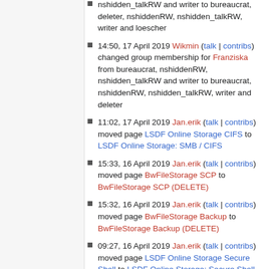nshidden_talkRW and writer to bureaucrat, deleter, nshiddenRW, nshidden_talkRW, writer and loescher
14:50, 17 April 2019 Wikmin (talk | contribs) changed group membership for Franziska from bureaucrat, nshiddenRW, nshidden_talkRW and writer to bureaucrat, nshiddenRW, nshidden_talkRW, writer and deleter
11:02, 17 April 2019 Jan.erik (talk | contribs) moved page LSDF Online Storage CIFS to LSDF Online Storage: SMB / CIFS
15:33, 16 April 2019 Jan.erik (talk | contribs) moved page BwFileStorage SCP to BwFileStorage SCP (DELETE)
15:32, 16 April 2019 Jan.erik (talk | contribs) moved page BwFileStorage Backup to BwFileStorage Backup (DELETE)
09:27, 16 April 2019 Jan.erik (talk | contribs) moved page LSDF Online Storage Secure Shell to LSDF Online Storage: Secure Shell
09:26, 16 April 2019 Jan.erik (talk |